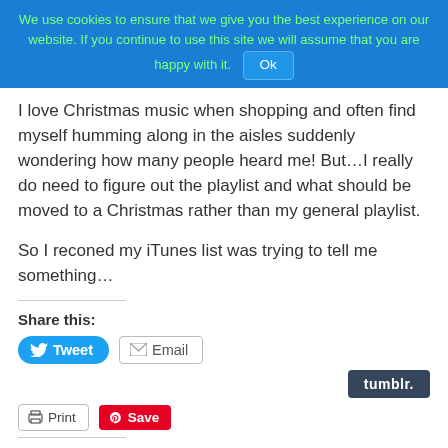We use cookies to ensure that we give you the best experience on our website. If you continue to use this site we will assume that you are happy with it. Ok
I love Christmas music when shopping and often find myself humming along in the aisles suddenly wondering how many people heard me! But…I really do need to figure out the playlist and what should be moved to a Christmas rather than my general playlist.
So I reconed my iTunes list was trying to tell me something…
Share this:
[Figure (screenshot): Share buttons: Tweet (blue), Email (grey outline), Tumblr (dark), Print (grey outline), Save (red Pinterest)]
Like this:
Loading...